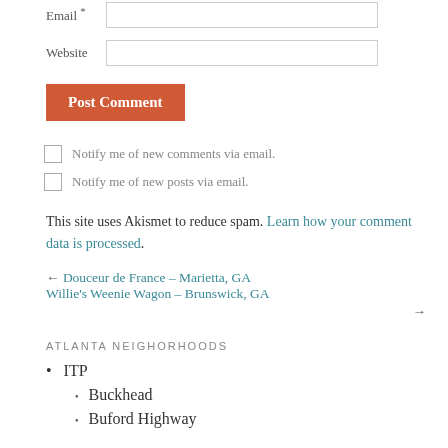Email *
Website
Post Comment
Notify me of new comments via email.
Notify me of new posts via email.
This site uses Akismet to reduce spam. Learn how your comment data is processed.
← Douceur de France – Marietta, GA     Willie's Weenie Wagon – Brunswick, GA →
ATLANTA NEIGHORHOODS
ITP
Buckhead
Buford Highway